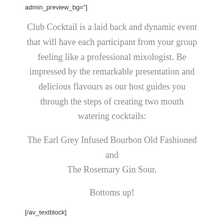admin_preview_bg="]
Club Cocktail is a laid back and dynamic event that will have each participant from your group feeling like a professional mixologist. Be impressed by the remarkable presentation and delicious flavours as our host guides you through the steps of creating two mouth watering cocktails:
The Earl Grey Infused Bourbon Old Fashioned and The Rosemary Gin Sour.
Bottoms up!
[/av_textblock]
[/av_one_third][av_one_third min_height=" vertical_alignment='av-align-top' space="